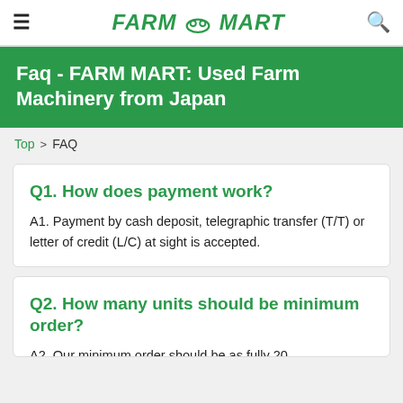FARM MART
Faq - FARM MART: Used Farm Machinery from Japan
Top > FAQ
Q1. How does payment work?
A1. Payment by cash deposit, telegraphic transfer (T/T) or letter of credit (L/C) at sight is accepted.
Q2. How many units should be minimum order?
A2. Our minimum order should be as fully 20